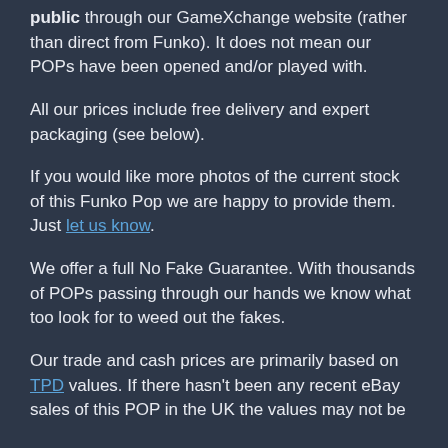public through our GameXchange website (rather than direct from Funko). It does not mean our POPs have been opened and/or played with.
All our prices include free delivery and expert packaging (see below).
If you would like more photos of the current stock of this Funko Pop we are happy to provide them. Just let us know.
We offer a full No Fake Guarantee. With thousands of POPs passing through our hands we know what too look for to weed out the fakes.
Our trade and cash prices are primarily based on TPD values. If there hasn't been any recent eBay sales of this POP in the UK the values may not be